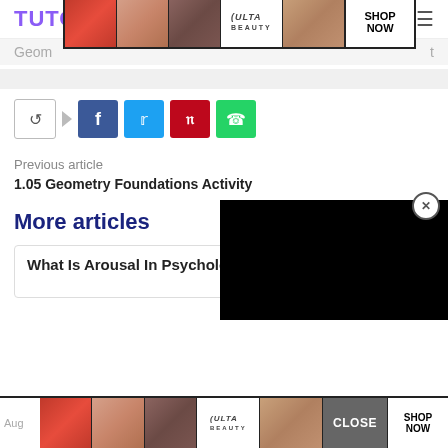TUTORDALE
[Figure (advertisement): ULTA beauty ad banner with makeup images and SHOP NOW button]
Geom…t
[Figure (infographic): Share buttons row: share icon with arrow, Facebook, Twitter, Pinterest, WhatsApp]
[Figure (other): Black video overlay panel with close X button]
Previous article
1.05 Geometry Foundations Activity
More articles
What Is Arousal In Psychology
[Figure (advertisement): ULTA beauty bottom ad banner with makeup images, CLOSE button, and SHOP NOW]